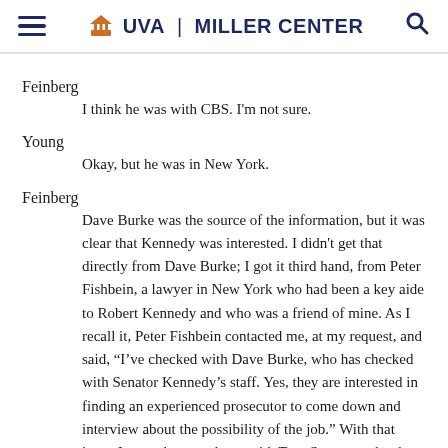UVA | MILLER CENTER
Feinberg
I think he was with CBS. I'm not sure.
Young
Okay, but he was in New York.
Feinberg
Dave Burke was the source of the information, but it was clear that Kennedy was interested. I didn't get that directly from Dave Burke; I got it third hand, from Peter Fishbein, a lawyer in New York who had been a key aide to Robert Kennedy and who was a friend of mine. As I recall it, Peter Fishbein contacted me, at my request, and said, “I’ve checked with Dave Burke, who has checked with Senator Kennedy’s staff. Yes, they are interested in finding an experienced prosecutor to come down and interview about the possibility of the job.” With that intro, I went down and met with Tom Susman, who then